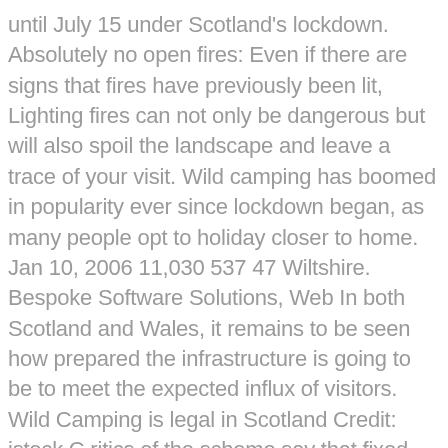until July 15 under Scotland's lockdown. Absolutely no open fires: Even if there are signs that fires have previously been lit, Lighting fires can not only be dangerous but will also spoil the landscape and leave a trace of your visit. Wild camping has boomed in popularity ever since lockdown began, as many people opt to holiday closer to home. Jan 10, 2006 11,030 537 47 Wiltshire. Bespoke Software Solutions, Web In both Scotland and Wales, it remains to be seen how prepared the infrastructure is going to be to meet the expected influx of visitors. Wild Camping is legal in Scotland Credit: istock C ritics of the scheme say that fixed sites and paying for pitches is simply not what wild camping is all about; it is in fact the polar opposite. Go. Tengu Full Member. On the Western Isles you're never far from water, and the closely grazed land at the fringes of loch and sea can make for the perfect pitching